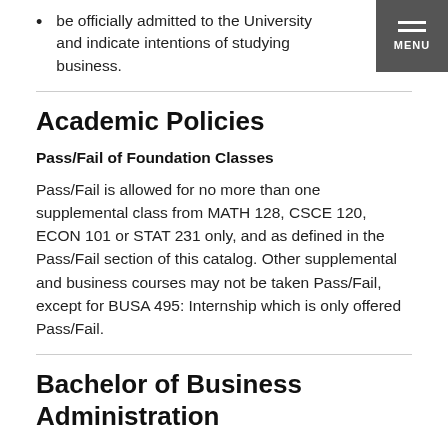be officially admitted to the University and indicate intentions of studying business.
Academic Policies
Pass/Fail of Foundation Classes
Pass/Fail is allowed for no more than one supplemental class from MATH 128, CSCE 120, ECON 101 or STAT 231 only, and as defined in the Pass/Fail section of this catalog. Other supplemental and business courses may not be taken Pass/Fail, except for BUSA 495: Internship which is only offered Pass/Fail.
Bachelor of Business Administration